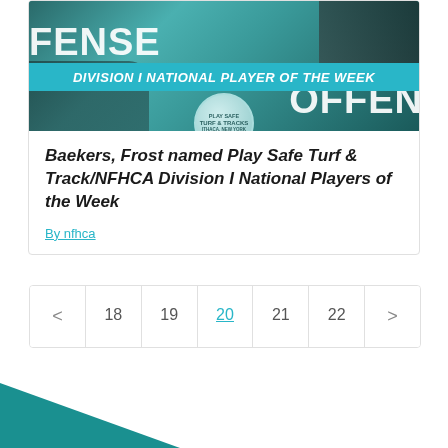[Figure (photo): Field hockey action photo with players, overlaid with text 'DEFENSE', 'DIVISION I NATIONAL PLAYER OF THE WEEK', 'OFFEN', and a Play Safe Turf & Tracks logo in the center]
Baekers, Frost named Play Safe Turf & Track/NFHCA Division I National Players of the Week
By nfhca
< 18 19 20 21 22 >